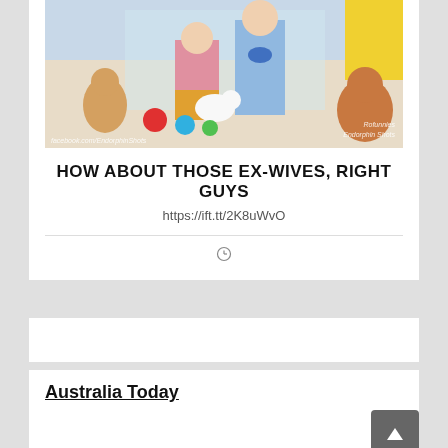[Figure (illustration): Vintage illustration of children looking at toys in a shop window, with watermarks 'facebook.com/EndorphinShots' and 'Rofunnies Endorphin Shots']
HOW ABOUT THOSE EX-WIVES, RIGHT GUYS
https://ift.tt/2K8uWvO
[Figure (other): Clock/time icon]
Australia Today